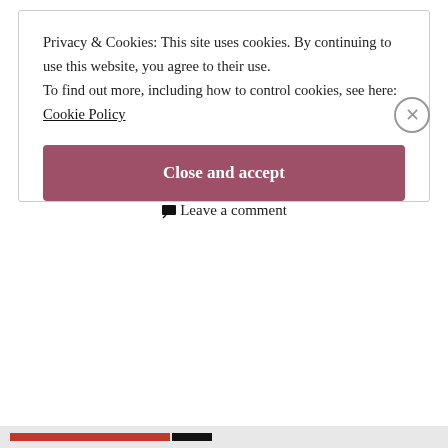products, and it can be really hard to find the right shampoo bar for your hair- especially when you have
Continue reading. →
Jazmin ~ A Beauty-full World  26th Jul 2021  Hair Care, Zero-Waste  afro hair, eco, sustainable  Leave a comment
Privacy & Cookies: This site uses cookies. By continuing to use this website, you agree to their use. To find out more, including how to control cookies, see here: Cookie Policy
Close and accept